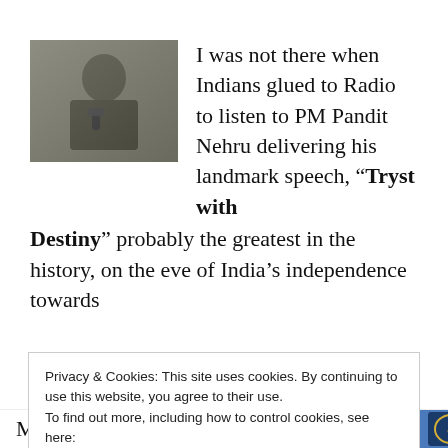[Figure (photo): Black and white photo of PM Pandit Nehru speaking at a microphone]
I was not there when Indians glued to Radio to listen to PM Pandit Nehru delivering his landmark speech, “Tryst with Destiny” probably the greatest in the history, on the eve of India’s independence towards
Privacy & Cookies: This site uses cookies. By continuing to use this website, you agree to their use.
To find out more, including how to control cookies, see here:
Cookie Policy
Close and accept
Modi